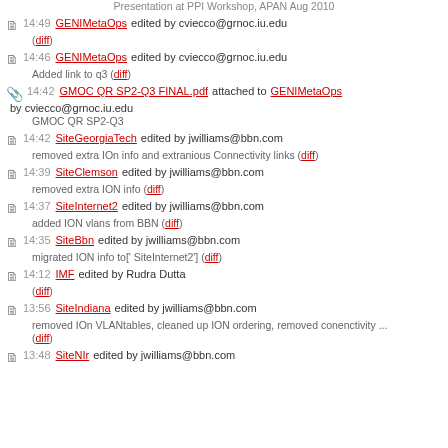Presentation at PPI Workshop, APAN Aug 2010
14:49 GENIMetaOps edited by cviecco@grnoc.iu.edu (diff)
14:46 GENIMetaOps edited by cviecco@grnoc.iu.edu Added link to q3 (diff)
14:42 GMOC QR SP2-Q3 FINAL.pdf attached to GENIMetaOps by cviecco@grnoc.iu.edu GMOC QR SP2-Q3
14:42 SiteGeorgiaTech edited by jwilliams@bbn.com removed extra IOn info and extranious Connectivity links (diff)
14:39 SiteClemson edited by jwilliams@bbn.com removed extra ION info (diff)
14:37 SiteInternet2 edited by jwilliams@bbn.com added ION vlans from BBN (diff)
14:35 SiteBbn edited by jwilliams@bbn.com migrated ION info to[' SiteInternet2'] (diff)
14:12 IMF edited by Rudra Dutta (diff)
13:56 SiteIndiana edited by jwilliams@bbn.com removed IOn VLANtables, cleaned up ION ordering, removed conenctivity ... (diff)
13:48 SiteNIr edited by jwilliams@bbn.com